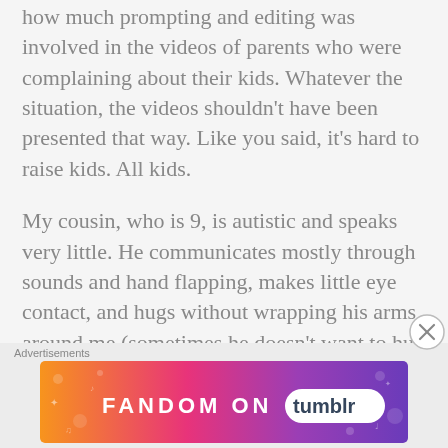how much prompting and editing was involved in the videos of parents who were complaining about their kids. Whatever the situation, the videos shouldn't have been presented that way. Like you said, it's hard to raise kids. All kids.
My cousin, who is 9, is autistic and speaks very little. He communicates mostly through sounds and hand flapping, makes little eye contact, and hugs without wrapping his arms around me (sometimes he doesn't want to hug at all.) I have been
Advertisements
[Figure (illustration): Advertisement banner for Fandom on Tumblr with orange to purple gradient background and decorative icons, text reading FANDOM ON tumblr]